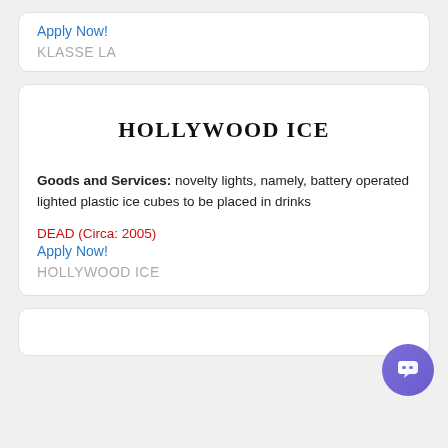Apply Now!
KLASSE LA
HOLLYWOOD ICE
Goods and Services: novelty lights, namely, battery operated lighted plastic ice cubes to be placed in drinks
DEAD (Circa: 2005)
Apply Now!
HOLLYWOOD ICE